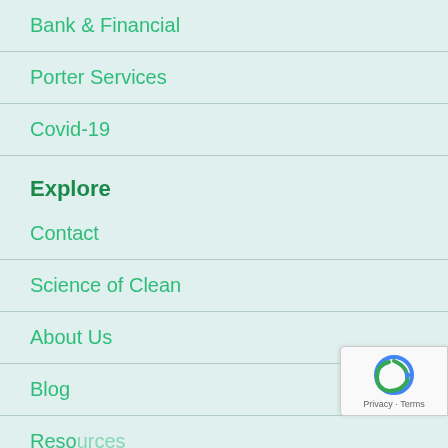Bank & Financial
Porter Services
Covid-19
Explore
Contact
Science of Clean
About Us
Blog
Resources